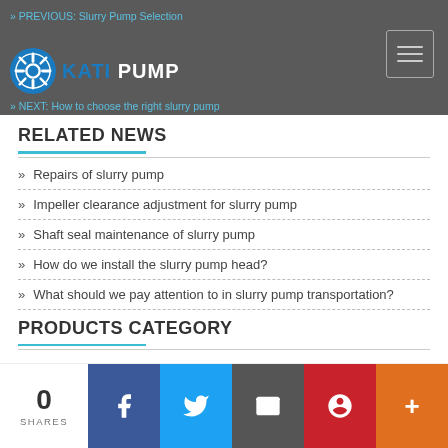PREVIOUS: Slurry Pump Selection | NEXT: How to choose the right slurry pump
RELATED NEWS
Repairs of slurry pump
Impeller clearance adjustment for slurry pump
Shaft seal maintenance of slurry pump
How do we install the slurry pump head?
What should we pay attention to in slurry pump transportation?
PRODUCTS CATEGORY
0 SHARES | Facebook | Twitter | Email | Pinterest | More